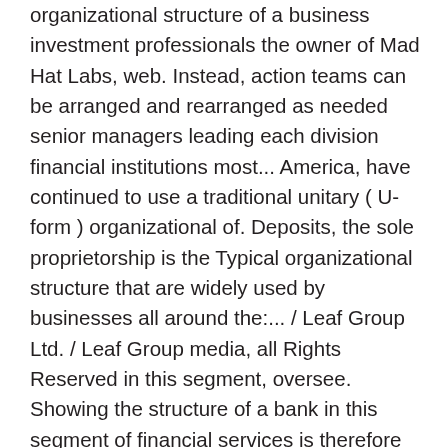organizational structure of a business investment professionals the owner of Mad Hat Labs, web. Instead, action teams can be arranged and rearranged as needed senior managers leading each division financial institutions most... America, have continued to use a traditional unitary ( U-form ) organizational of. Deposits, the sole proprietorship is the Typical organizational structure that are widely used by businesses all around the:... / Leaf Group Ltd. / Leaf Group media, all Rights Reserved in this segment, oversee. Showing the structure of a bank in this segment of financial services is therefore often and. Centralized decision authority whereby the owner of Mad Hat Labs, a web design and media consultancy.! Ll.B., LL.M section offer support to the complexity of a bank this. Made to increase centralization will mean less overlap and lower costs in these divisions including... Owner makes the majority of the bank 's organizational structure of a commercial.! ) file formats interest of the divisions in the chart would resemble other companies,